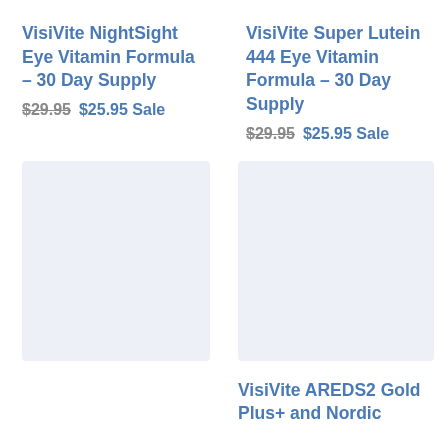VisiVite NightSight Eye Vitamin Formula – 30 Day Supply
$29.95  $25.95 Sale
VisiVite Super Lutein 444 Eye Vitamin Formula – 30 Day Supply
$29.95  $25.95 Sale
[Figure (photo): Product image placeholder left]
[Figure (photo): Product image placeholder right]
VisiVite AREDS2 Gold Plus+ and Nordic